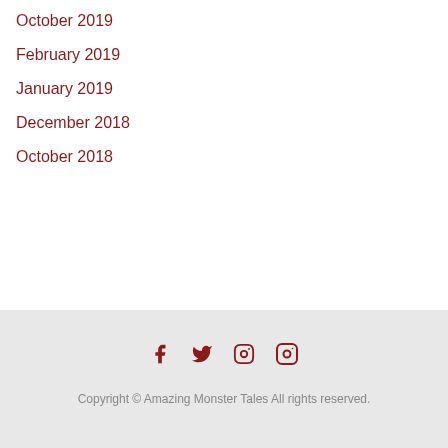October 2019
February 2019
January 2019
December 2018
October 2018
Copyright © Amazing Monster Tales All rights reserved.